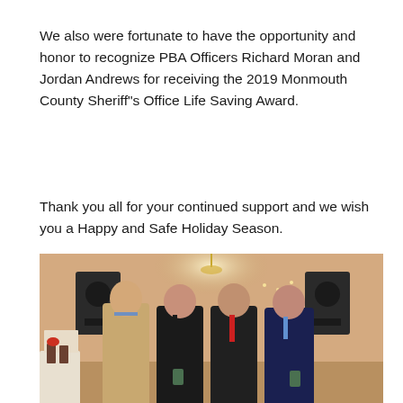We also were fortunate to have the opportunity and honor to recognize PBA Officers Richard Moran and Jordan Andrews for receiving the 2019 Monmouth County Sheriff"s Office Life Saving Award.
Thank you all for your continued support and we wish you a Happy and Safe Holiday Season.
[Figure (photo): Four men in suits standing together in a banquet hall setting, holding award trophies. Two speakers and decorative lights visible in the background.]